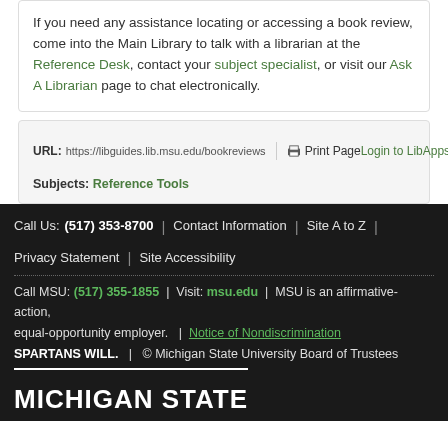If you need any assistance locating or accessing a book review, come into the Main Library to talk with a librarian at the Reference Desk, contact your subject specialist, or visit our Ask A Librarian page to chat electronically.
URL: https://libguides.lib.msu.edu/bookreviews | Print Page | Login to LibApps
Subjects: Reference Tools
Call Us: (517) 353-8700 | Contact Information | Site A to Z | Privacy Statement | Site Accessibility
Call MSU: (517) 355-1855 | Visit: msu.edu | MSU is an affirmative-action, equal-opportunity employer. | Notice of Nondiscrimination
SPARTANS WILL. | © Michigan State University Board of Trustees
MICHIGAN STATE